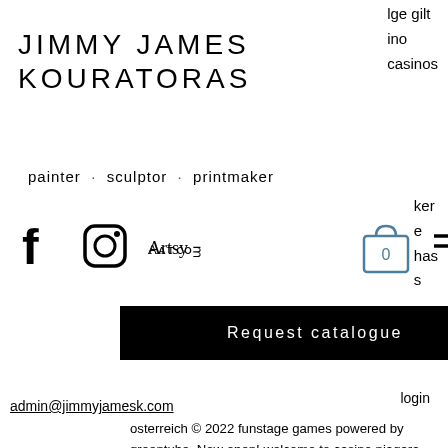JIMMY JAMES KOURATORAS
lge gilt
ino
casinos
painter · sculptor · printmaker
ker
e
has
s
[Figure (illustration): Social media icons: Facebook, Instagram, Artsy logo, shopping cart with 0, hamburger menu]
Request catalogue
login
admin@jimmyjamesk.com
osterreich © 2022 funstage games powered by greentube. Now open! welcome to casino niagara, your gaming and entertainment destination in niagara falls! we will be open 24/7 everyday. Check out our updates page. 200+ slots &amp; automatenspiele ✓ starterpaket von bis zu 100€ ✓ 100 freispiele ✓ original novoline slots wie book of ra, sizzling hot &amp; lucky lady's charm. Hon-dah resort casino is located in pinetop,